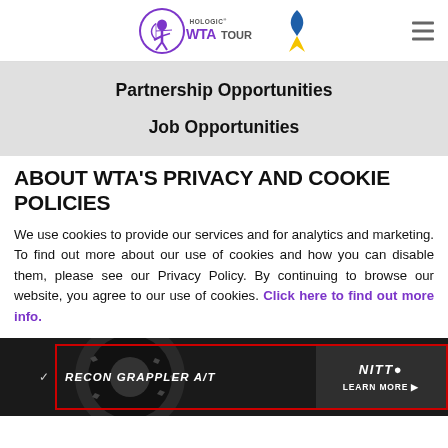[Figure (logo): Hologic WTA Tour logo with purple archer icon and blue-yellow ribbon]
Partnership Opportunities
Job Opportunities
ABOUT WTA'S PRIVACY AND COOKIE POLICIES
We use cookies to provide our services and for analytics and marketing. To find out more about our use of cookies and how you can disable them, please see our Privacy Policy. By continuing to browse our website, you agree to our use of cookies. Click here to find out more info.
[Figure (photo): Nitto tire advertisement banner showing Recon Grappler A/T tire with Learn More button]